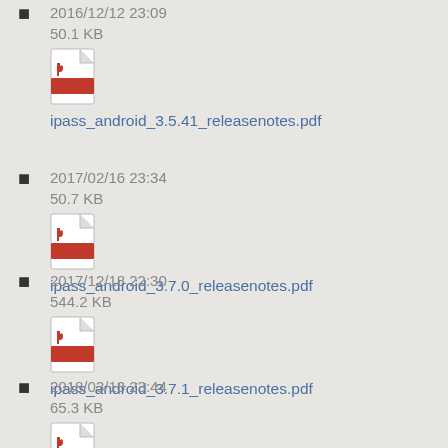2016/12/12 23:09
50.1 KB
ipass_android_3.5.41_releasenotes.pdf
2017/02/16 23:34
50.7 KB
ipass_android_3.7.0_releasenotes.pdf
2017/12/18 22:30
544.2 KB
ipass_android_3.7.1_releasenotes.pdf
2018/03/13 23:44
65.3 KB